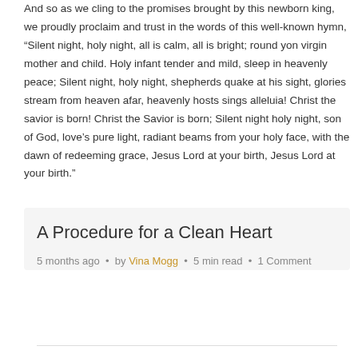And so as we cling to the promises brought by this newborn king, we proudly proclaim and trust in the words of this well-known hymn, “Silent night, holy night, all is calm, all is bright; round yon virgin mother and child. Holy infant tender and mild, sleep in heavenly peace; Silent night, holy night, shepherds quake at his sight, glories stream from heaven afar, heavenly hosts sings alleluia! Christ the savior is born! Christ the Savior is born; Silent night holy night, son of God, love’s pure light, radiant beams from your holy face, with the dawn of redeeming grace, Jesus Lord at your birth, Jesus Lord at your birth.”
A Procedure for a Clean Heart
5 months ago · by Vina Mogg · 5 min read · 1 Comment